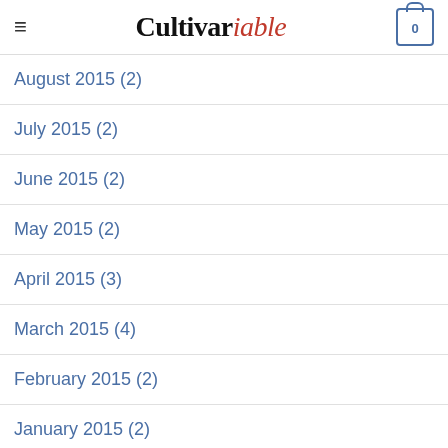Cultivariable
August 2015 (2)
July 2015 (2)
June 2015 (2)
May 2015 (2)
April 2015 (3)
March 2015 (4)
February 2015 (2)
January 2015 (2)
December 2014 (3)
November 2014 (1)